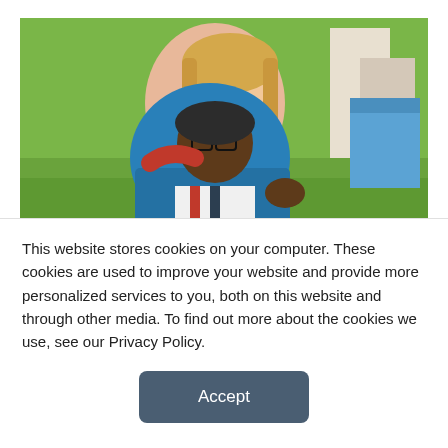[Figure (photo): Two women posing together outdoors on grass. One woman with blonde hair wearing a red shirt stands behind a woman in a blue sweater with text 'Park' who appears to be seated in a wheelchair. A blue bag is visible in the background.]
US Congresswoman Debbie Dingell Introduces Legislation to Expand
This website stores cookies on your computer. These cookies are used to improve your website and provide more personalized services to you, both on this website and through other media. To find out more about the cookies we use, see our Privacy Policy.